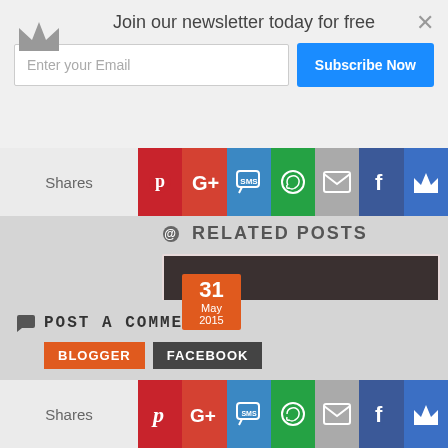Join our newsletter today for free
Enter your Email
Subscribe Now
Shares
RELATED POSTS
[Figure (photo): Black and white photo of a child peeking through torn paper with date badge 31 May 2015]
A common wayward path that many people take with recovery is to assume a
POST A COMMENT
BLOGGER
FACEBOOK
Shares